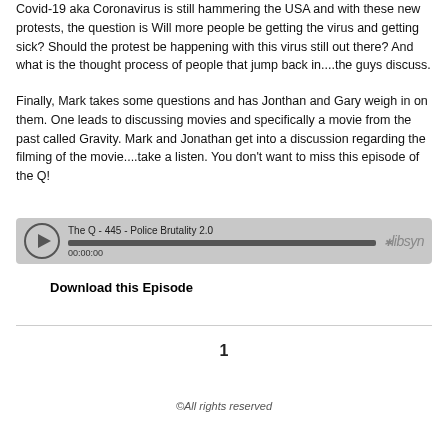Covid-19 aka Coronavirus is still hammering the USA and with these new protests, the question is Will more people be getting the virus and getting sick? Should the protest be happening with this virus still out there? And what is the thought process of people that jump back in....the guys discuss.
Finally, Mark takes some questions and has Jonthan and Gary weigh in on them. One leads to discussing movies and specifically a movie from the past called Gravity. Mark and Jonathan get into a discussion regarding the filming of the movie....take a listen. You don't want to miss this episode of the Q!
[Figure (other): Audio player widget showing 'The Q - 445 - Police Brutality 2.0' with play button, progress bar, timestamp 00:00:00, and libsyn logo]
Download this Episode
1
©All rights reserved